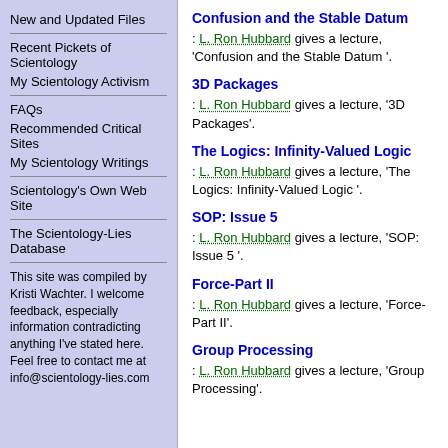New and Updated Files
Recent Pickets of Scientology
My Scientology Activism
FAQs
Recommended Critical Sites
My Scientology Writings
Scientology's Own Web Site
The Scientology-Lies Database
This site was compiled by Kristi Wachter. I welcome feedback, especially information contradicting anything I've stated here. Feel free to contact me at info@scientology-lies.com
Confusion and the Stable Datum
: L. Ron Hubbard gives a lecture, 'Confusion and the Stable Datum '.
3D Packages
: L. Ron Hubbard gives a lecture, '3D Packages'.
The Logics: Infinity-Valued Logic
: L. Ron Hubbard gives a lecture, 'The Logics: Infinity-Valued Logic '.
SOP: Issue 5
: L. Ron Hubbard gives a lecture, 'SOP: Issue 5 '.
Force-Part II
: L. Ron Hubbard gives a lecture, 'Force-Part II'.
Group Processing
: L. Ron Hubbard gives a lecture, 'Group Processing'.